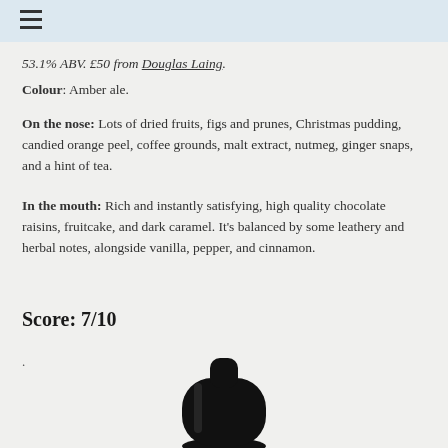≡
53.1% ABV. £50 from Douglas Laing.
Colour: Amber ale.
On the nose: Lots of dried fruits, figs and prunes, Christmas pudding, candied orange peel, coffee grounds, malt extract, nutmeg, ginger snaps, and a hint of tea.
In the mouth: Rich and instantly satisfying, high quality chocolate raisins, fruitcake, and dark caramel. It's balanced by some leathery and herbal notes, alongside vanilla, pepper, and cinnamon.
Score: 7/10
.
[Figure (photo): Bottom portion of a dark whisky bottle, black and white, centered in the lower part of the page.]